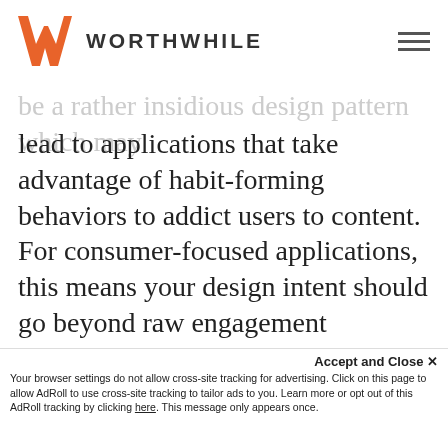WORTHWHILE
measure of success. One note on this: emerging … patterns shows th… be a rather insidious design pattern which may lead to applications that take advantage of habit-forming behaviors to addict users to content. For consumer-focused applications, this means your design intent should go beyond raw engagement … s. … to … better. … nportant
We use cookies to ensure you get the best experience on our website. By dismissing or continuing to use our site you indicate your agreement. Learn more
Accept and Close ✕
Your browser settings do not allow cross-site tracking for advertising. Click on this page to allow AdRoll to use cross-site tracking to tailor ads to you. Learn more or opt out of this AdRoll tracking by clicking here. This message only appears once.